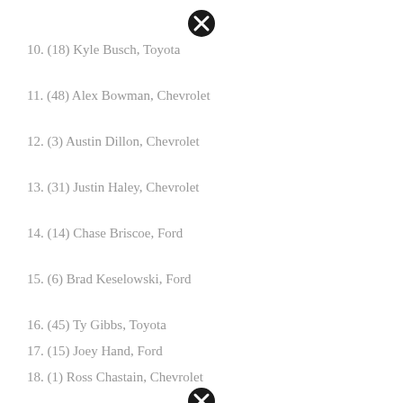10. (18) Kyle Busch, Toyota
11. (48) Alex Bowman, Chevrolet
12. (3) Austin Dillon, Chevrolet
13. (31) Justin Haley, Chevrolet
14. (14) Chase Briscoe, Ford
15. (6) Brad Keselowski, Ford
16. (45) Ty Gibbs, Toyota
17. (15) Joey Hand, Ford
18. (1) Ross Chastain, Chevrolet